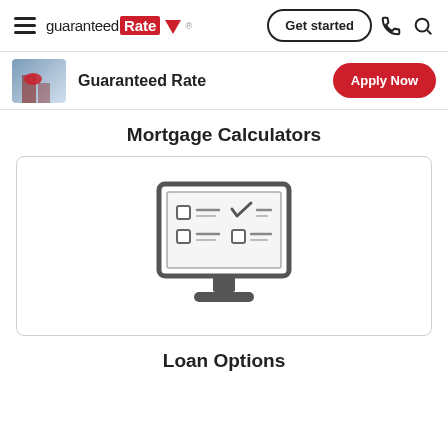guaranteed Rate — Get started — [phone icon] [search icon]
Guaranteed Rate — Apply Now
Mortgage Calculators
[Figure (illustration): A computer monitor icon showing a checklist/form with checkboxes and check mark, displayed inside a rounded rectangle card.]
Loan Options